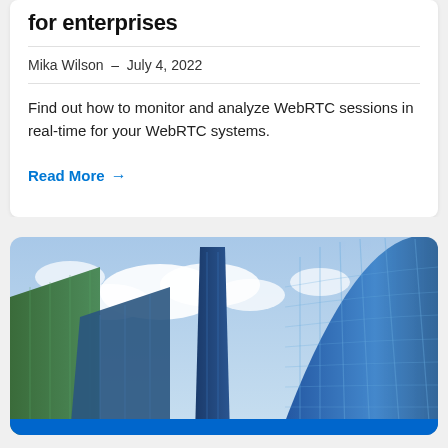for enterprises
Mika Wilson  –  July 4, 2022
Find out how to monitor and analyze WebRTC sessions in real-time for your WebRTC systems.
Read More →
[Figure (photo): Upward view of modern glass skyscrapers against a blue sky with clouds]